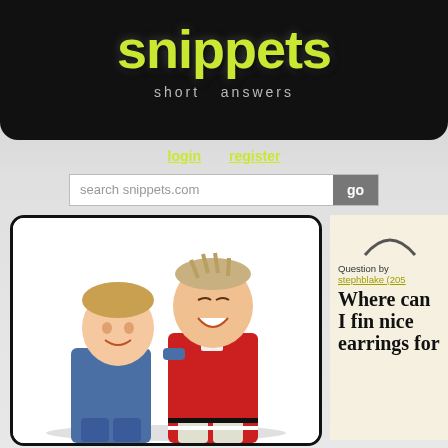snippets short answers
login   register
search snippets.com   go
[Figure (photo): Two young boys smiling and posing together; one wearing a blue shirt, the other wearing a red jacket, arms around each other, white background]
Question by stephblake (205
Where can I fin nice earrings for